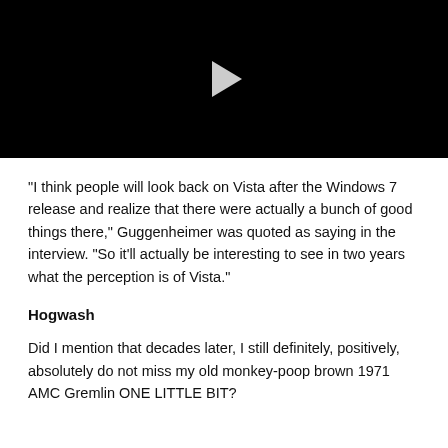[Figure (screenshot): Black video player thumbnail with a gray play button triangle in the center]
“I think people will look back on Vista after the Windows 7 release and realize that there were actually a bunch of good things there,” Guggenheimer was quoted as saying in the interview. “So it’ll actually be interesting to see in two years what the perception is of Vista.”
Hogwash
Did I mention that decades later, I still definitely, positively, absolutely do not miss my old monkey-poop brown 1971 AMC Gremlin ONE LITTLE BIT?